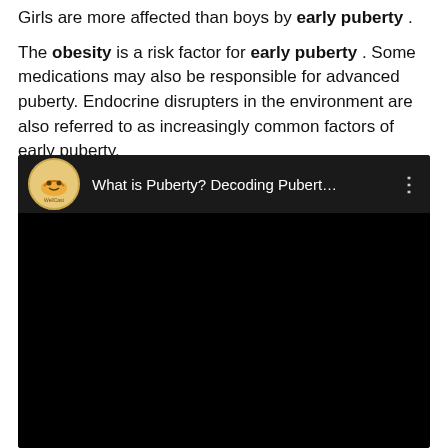Girls are more affected than boys by early puberty. The obesity is a risk factor for early puberty. Some medications may also be responsible for advanced puberty. Endocrine disrupters in the environment are also referred to as increasingly common factors of early puberty.
[Figure (screenshot): Embedded video thumbnail showing a YouTube-style video player with dark background. Channel logo shows 'WellCast' icon. Video title reads 'What is Puberty? Decoding Pubert…' with a three-dot menu icon on the right.]